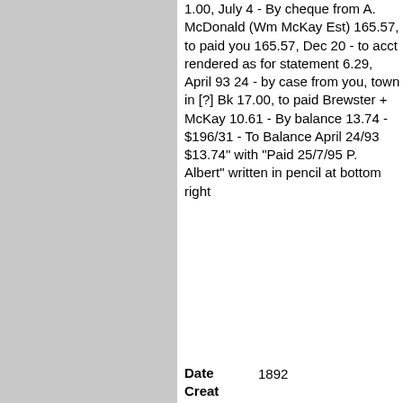1.00, July 4 - By cheque from A. McDonald (Wm McKay Est) 165.57, to paid you 165.57, Dec 20 - to acct rendered as for statement 6.29, April 93 24 - by case from you, town in [?] Bk 17.00, to paid Brewster + McKay 10.61 - By balance 13.74 - $196/31 - To Balance April 24/93 $13.74" with "Paid 25/7/95 P. Albert" written in pencil at bottom right
Date Creat
1892